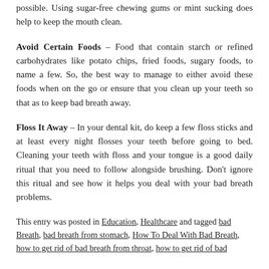possible. Using sugar-free chewing gums or mint sucking does help to keep the mouth clean.
Avoid Certain Foods – Food that contain starch or refined carbohydrates like potato chips, fried foods, sugary foods, to name a few. So, the best way to manage to either avoid these foods when on the go or ensure that you clean up your teeth so that as to keep bad breath away.
Floss It Away – In your dental kit, do keep a few floss sticks and at least every night flosses your teeth before going to bed. Cleaning your teeth with floss and your tongue is a good daily ritual that you need to follow alongside brushing. Don't ignore this ritual and see how it helps you deal with your bad breath problems.
This entry was posted in Education, Healthcare and tagged bad Breath, bad breath from stomach, How To Deal With Bad Breath, how to get rid of bad breath from throat, how to get rid of bad